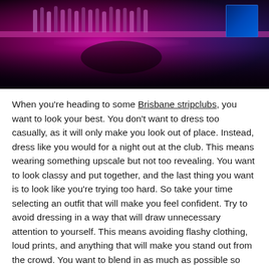[Figure (photo): Photo of a nightclub bar interior with pink/magenta neon lighting illuminating bottles on a shelf, dark atmosphere with blue screen glow in upper right corner.]
When you're heading to some Brisbane stripclubs, you want to look your best. You don't want to dress too casually, as it will only make you look out of place. Instead, dress like you would for a night out at the club. This means wearing something upscale but not too revealing. You want to look classy and put together, and the last thing you want is to look like you're trying too hard. So take your time selecting an outfit that will make you feel confident. Try to avoid dressing in a way that will draw unnecessary attention to yourself. This means avoiding flashy clothing, loud prints, and anything that will make you stand out from the crowd. You want to blend in as much as possible so that you can enjoy the show without feeling uncomfortable or self-conscious.